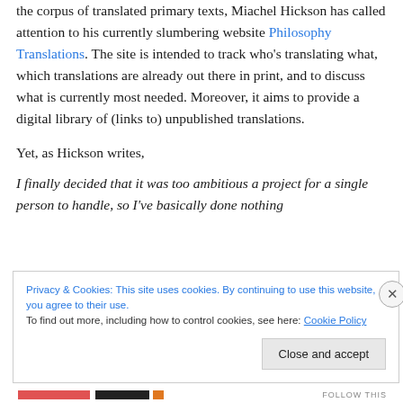the corpus of translated primary texts, Miachel Hickson has called attention to his currently slumbering website Philosophy Translations. The site is intended to track who's translating what, which translations are already out there in print, and to discuss what is currently most needed. Moreover, it aims to provide a digital library of (links to) unpublished translations.
Yet, as Hickson writes,
I finally decided that it was too ambitious a project for a single person to handle, so I've basically done nothing
Privacy & Cookies: This site uses cookies. By continuing to use this website, you agree to their use. To find out more, including how to control cookies, see here: Cookie Policy
Close and accept